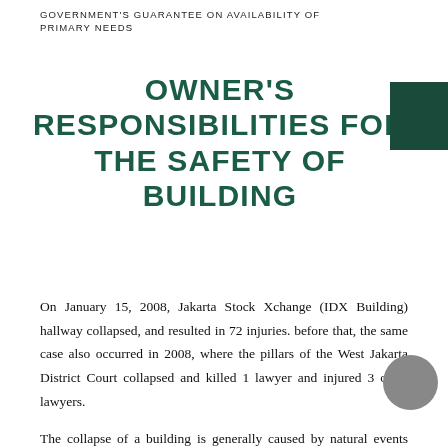GOVERNMENT'S GUARANTEE ON AVAILABILITY OF PRIMARY NEEDS
OWNER'S RESPONSIBILITIES FOR THE SAFETY OF BUILDING
On January 15, 2008, Jakarta Stock Xchange (IDX Building) hallway collapsed, and resulted in 72 injuries. before that, the same case also occurred in 2008, where the pillars of the West Jakarta District Court collapsed and killed 1 lawyer and injured 3 other lawyers.
The collapse of a building is generally caused by natural events such as earthquakes or whirlwinds. But in the two cases above, there is